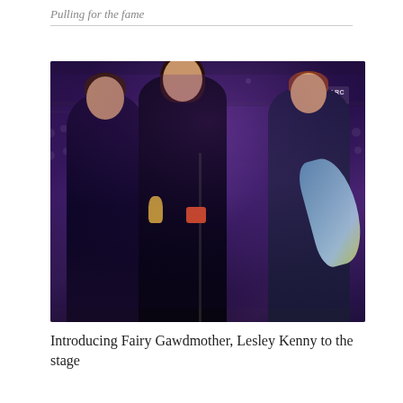Pulling for the fame
[Figure (photo): Three women standing on a stage at the Monarch Hotel. The woman on the left wears a black dress, the woman in the center wears a black outfit and holds a red/orange mug near a microphone stand with a trophy beside it, and the woman on the right wears a blue sparkly dress with a blue and yellow shawl. The background features a large black-and-white crowd photo with purple/violet lighting.]
Introducing Fairy Gawdmother, Lesley Kenny to the stage